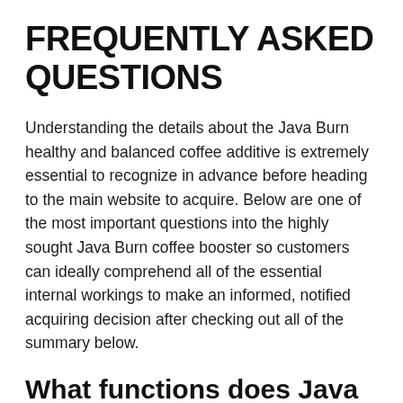FREQUENTLY ASKED QUESTIONS
Understanding the details about the Java Burn healthy and balanced coffee additive is extremely essential to recognize in advance before heading to the main website to acquire. Below are one of the most important questions into the highly sought Java Burn coffee booster so customers can ideally comprehend all of the essential internal workings to make an informed, notified acquiring decision after checking out all of the summary below.
What functions does Java